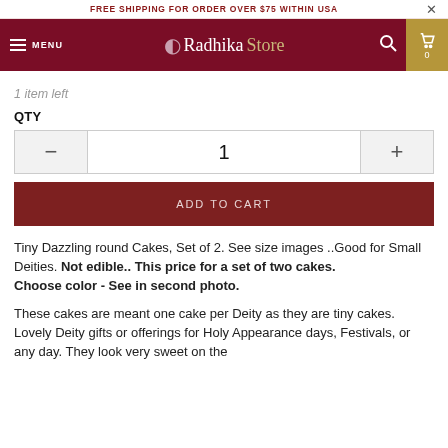FREE SHIPPING FOR ORDER OVER $75 WITHIN USA
[Figure (screenshot): Radhika Store navigation bar with menu, logo, search and cart icons]
1 item left
QTY
[Figure (other): Quantity selector with minus button, value 1, plus button]
ADD TO CART
Tiny Dazzling round Cakes, Set of 2. See size images ..Good for Small Deities. Not edible.. This price for a set of two cakes.
Choose color - See in second photo.
These cakes are meant one cake per Deity as they are tiny cakes. Lovely Deity gifts or offerings for Holy Appearance days, Festivals, or any day. They look very sweet on the